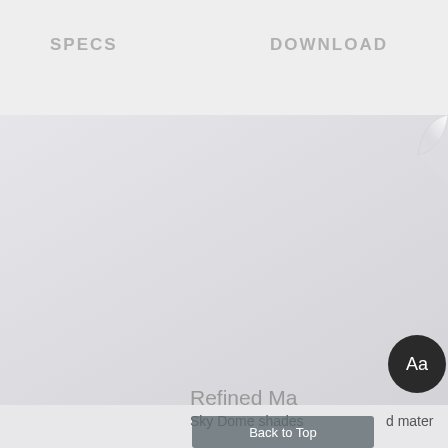SPECS    DOWNLOAD
[Figure (screenshot): Large light gray area with a subtle gradient, representing a product/font specimen display area with a page-curl effect in the top-right corner and a dark circular 'Aa' typography button on the right side.]
Refined Ma
Sky Dome shades
d mater
Back to Top